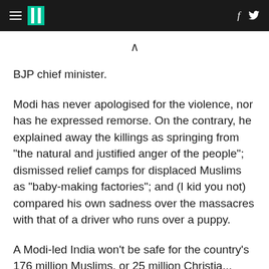HuffPost navigation with hamburger menu, logo, Facebook and Twitter icons
BJP chief minister.
Modi has never apologised for the violence, nor has he expressed remorse. On the contrary, he explained away the killings as springing from "the natural and justified anger of the people"; dismissed relief camps for displaced Muslims as "baby-making factories"; and (I kid you not) compared his own sadness over the massacres with that of a driver who runs over a puppy.
A Modi-led India won't be safe for the country's 176 million Muslims, or 25 million Christians...